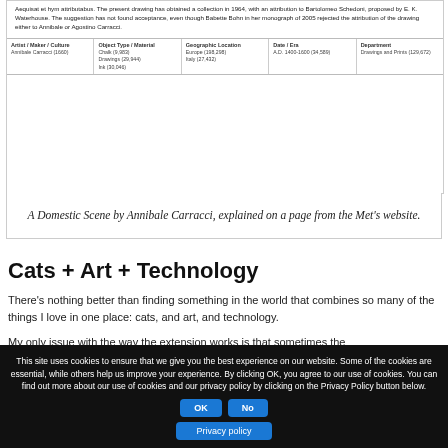[Figure (screenshot): Screenshot of a Met museum website page showing text about a drawing attributed to Annibale Carracci, with a metadata table showing Artist/Maker/Culture, Object Type/Material, Geographic Location, Date/Era, and Department fields.]
A Domestic Scene by Annibale Carracci, explained on a page from the Met's website.
Cats + Art + Technology
There’s nothing better than finding something in the world that combines so many of the things I love in one place: cats, and art, and technology.
My only issue with the way the extension works is that sometimes the
This site uses cookies to ensure that we give you the best experience on our website. Some of the cookies are essential, while others help us improve your experience. By clicking OK, you agree to our use of cookies. You can find out more about our use of cookies and our privacy policy by clicking on the Privacy Policy button below.